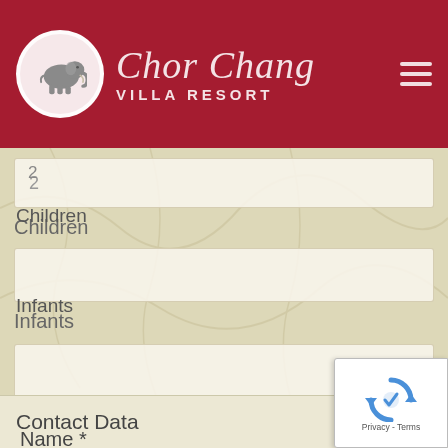[Figure (logo): Chor Chang Villa Resort logo with elephant in circle and resort name in italic script on dark red header background with hamburger menu icon]
2
Children
Infants
Contact Data
Name *